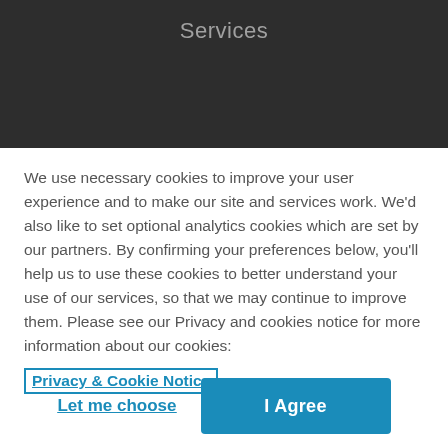Services
We use necessary cookies to improve your user experience and to make our site and services work. We'd also like to set optional analytics cookies which are set by our partners. By confirming your preferences below, you'll help us to use these cookies to better understand your use of our services, so that we may continue to improve them. Please see our Privacy and cookies notice for more information about our cookies:
Privacy & Cookie Notice
Let me choose
I Agree